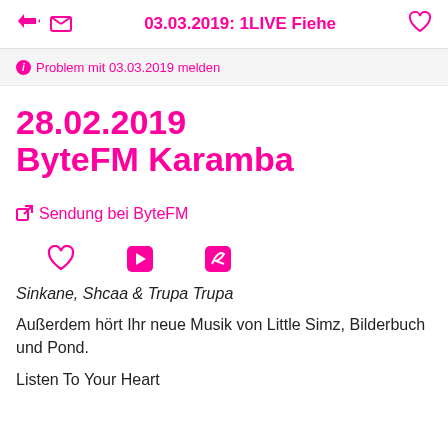03.03.2019: 1LIVE Fiehe
Problem mit 03.03.2019 melden
28.02.2019
ByteFM Karamba
Sendung bei ByteFM
Sinkane, Shcaa & Trupa Trupa
Außerdem hört Ihr neue Musik von Little Simz, Bilderbuch und Pond.
Listen To Your Heart